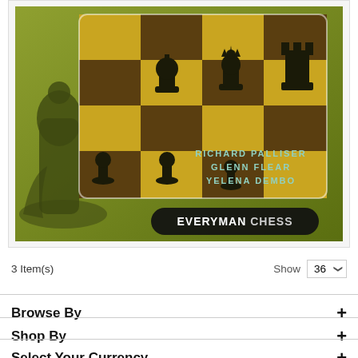[Figure (illustration): Chess book cover showing chess pieces on a yellow-green checkered board. Authors listed: RICHARD PALLISER, GLENN FLEAR, YELENA DEMBO. Publisher badge: EVERYMAN CHESS in black oval.]
3 Item(s)
Show  36
Browse By
Shop By
Select Your Currency